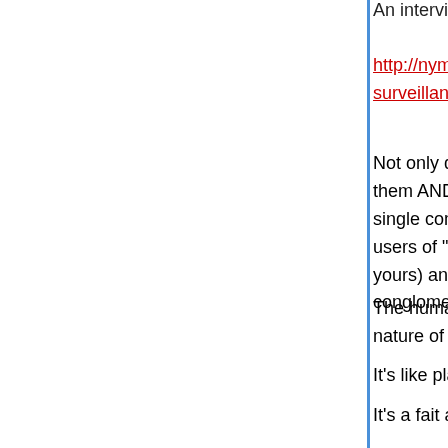An interview with Surveillance Capitalism author Z
http://nymag.com/intelligencer/2019/02/shoshana-surveillance-capital.html
Not only do we not read the contracts, I don't, but them AND the perhaps thousands of other contra single contract in front of you that you just clicked users of "users' of your data (your Roomba maps yours) and enable the modification of your behavi conglomeration of technology you've unwittingly s
The human brain can't wrap itself around the now nature of this beast.
It's like playing the game "GO" or chess with A. I.
It's a fait accompli.
To what end?
This:
https://www.youtube.com/watch?v=yuBe93FMiJc